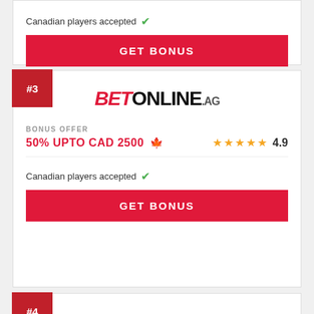Canadian players accepted ✓
GET BONUS
#3
[Figure (logo): BetOnline.ag logo in red and black italic/bold text]
BONUS OFFER
50% UPTO CAD 2500 🍁
4.9 stars rating
Canadian players accepted ✓
GET BONUS
#4